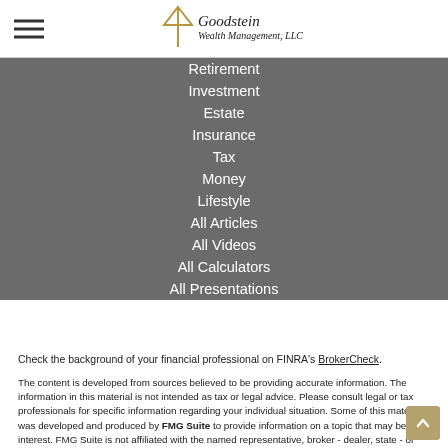Goodstein Wealth Management, LLC
Retirement
Investment
Estate
Insurance
Tax
Money
Lifestyle
All Articles
All Videos
All Calculators
All Presentations
Check the background of your financial professional on FINRA's BrokerCheck.
The content is developed from sources believed to be providing accurate information. The information in this material is not intended as tax or legal advice. Please consult legal or tax professionals for specific information regarding your individual situation. Some of this material was developed and produced by FMG Suite to provide information on a topic that may be of interest. FMG Suite is not affiliated with the named representative, broker - dealer, state - or SEC - registered investment advisory firm. The opinions expressed and material provided are for